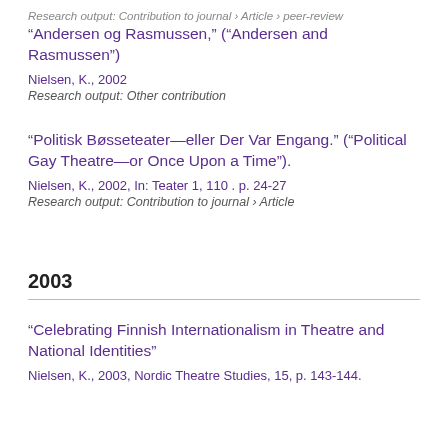Research output: Contribution to journal › Article › peer-review
“Andersen og Rasmussen,” (“Andersen and Rasmussen”)
Nielsen, K., 2002
Research output: Other contribution
“Politisk Bøsseteater—eller Der Var Engang.” (“Political Gay Theatre—or Once Upon a Time”).
Nielsen, K., 2002, In: Teater 1, 110 . p. 24-27
Research output: Contribution to journal › Article
2003
“Celebrating Finnish Internationalism in Theatre and National Identities”
Nielsen, K., 2003, Nordic Theatre Studies, 15, p. 143-144.